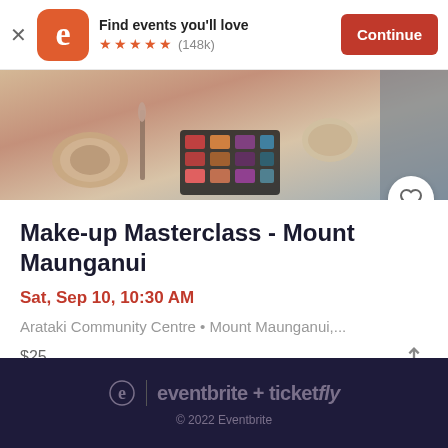[Figure (screenshot): Eventbrite app banner with logo, 'Find events you'll love' text, 5 star rating (148k reviews), and Continue button]
[Figure (photo): Photo of makeup products spread on a table — compacts, brushes, palettes]
Make-up Masterclass - Mount Maunganui
Sat, Sep 10, 10:30 AM
Arataki Community Centre • Mount Maunganui,...
$25
eventbrite + ticketfly
© 2022 Eventbrite